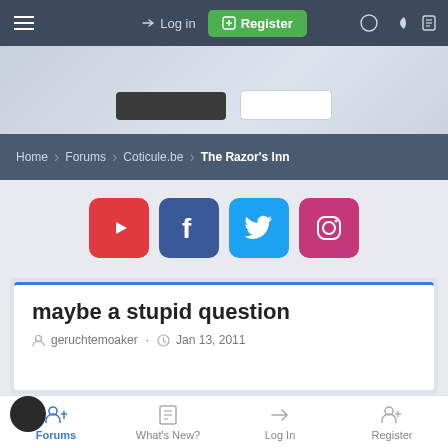☰  → Log in  ⊞ Register  ◐  ☽  ▣
[Figure (screenshot): Banner area with two buttons (dark and light)]
Home  >  Forums  >  Coticule.be  >  The Razor's Inn
[Figure (infographic): Social media icons: YouTube (red), Facebook (dark blue), Twitter (light blue), Instagram (pink)]
maybe a stupid question
geruchtemoaker · Jan 13, 2011
[Figure (photo): User avatar (black circle) partially visible at bottom]
geruchtemoaker
Forums  What's New?  Log In  Register